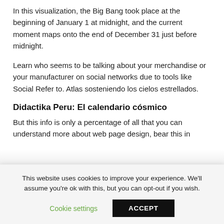In this visualization, the Big Bang took place at the beginning of January 1 at midnight, and the current moment maps onto the end of December 31 just before midnight.
Learn who seems to be talking about your merchandise or your manufacturer on social networks due to tools like Social Refer to. Atlas sosteniendo los cielos estrellados.
Didactika Peru: El calendario cósmico
But this info is only a percentage of all that you can understand more about web page design, bear this in
This website uses cookies to improve your experience. We'll assume you're ok with this, but you can opt-out if you wish.
Cookie settings    ACCEPT